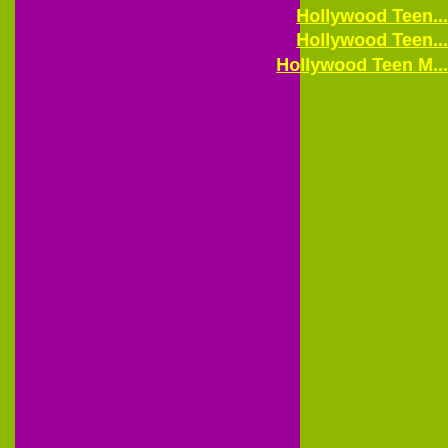[Figure (other): Page with yellow-green (lime) background and a large purple vertical rectangle on the left side]
Hollywood Teen...
Hollywood Teen...
Hollywood Teen M...